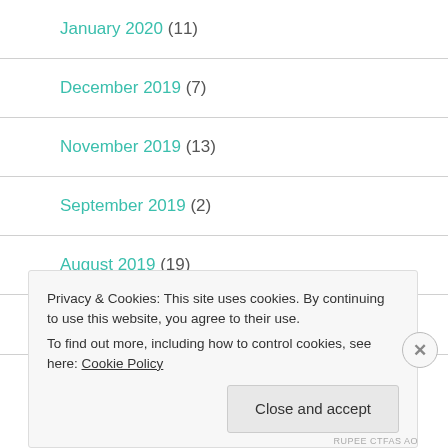January 2020 (11)
December 2019 (7)
November 2019 (13)
September 2019 (2)
August 2019 (19)
July 2019 (9)
Privacy & Cookies: This site uses cookies. By continuing to use this website, you agree to their use.
To find out more, including how to control cookies, see here: Cookie Policy
RUPEE CTFAS AO